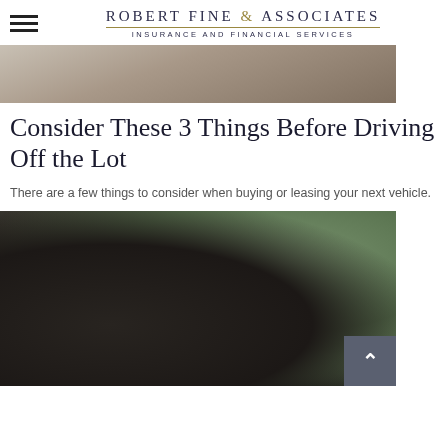Robert Fine & Associates — Insurance and Financial Services
[Figure (photo): Partial view of a decorative background photo at the top of the page]
Consider These 3 Things Before Driving Off the Lot
There are a few things to consider when buying or leasing your next vehicle.
[Figure (photo): Portrait photo of a middle-aged Asian man wearing round glasses and a dark turtleneck, smiling slightly, with green foliage in the background]